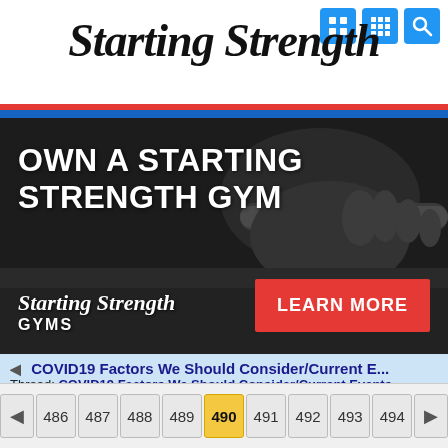Starting Strength
[Figure (screenshot): Banner advertisement for Starting Strength Gyms franchise. Dark background with a person gripping a barbell. Text reads OWN A STARTING STRENGTH GYM with Starting Strength Gyms logo and a red LEARN MORE button.]
COVID19 Factors We Should Consider/Current E...
Thread: COVID19 Factors We Should Consider/Current Events
486 487 488 489 490 491 492 493 494